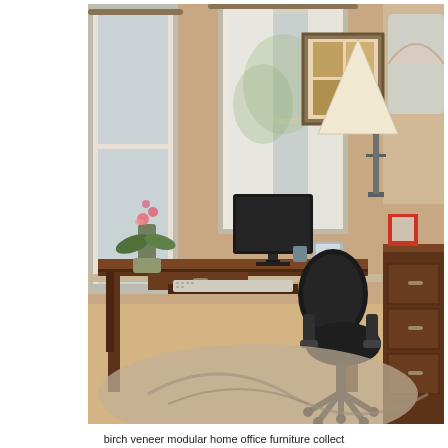[Figure (photo): A home office setup featuring a dark wood desk with a computer monitor, keyboard on a pullout tray, a potted orchid plant, and various desk accessories. A black leather office chair is positioned at the desk. Behind the desk is a credenza/cabinet in matching dark wood finish. The room has large windows with white curtains, warm beige walls, a framed artwork, a table lamp, and a patterned area rug on light hardwood flooring.]
birch veneer modular home office furniture collect